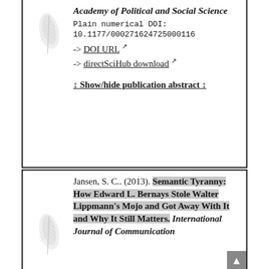Academy of Political and Social Science
Plain numerical DOI:
10.1177/000271624725000116
-> DOI URL ↗
-> directSciHub download ↗
↨ Show/hide publication abstract ↨
Jansen, S. C.. (2013). Semantic Tyranny: How Edward L. Bernays Stole Walter Lippmann's Mojo and Got Away With It and Why It Still Matters. International Journal of Communication